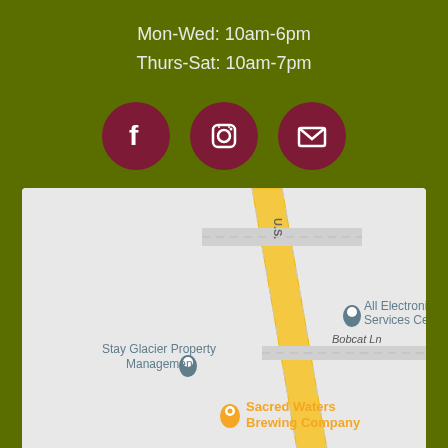Mon-Wed: 10am-6pm
Thurs-Sat: 10am-7pm
[Figure (infographic): Three dark red circular social media icons: Facebook (f), Instagram (camera), and Email (envelope)]
[Figure (map): Google Maps screenshot showing Sacred Waters Brewing Company location on a highway, with Stay Glacier Property Management and All Electronics Services Center nearby, and Bobcat Ln road label visible]